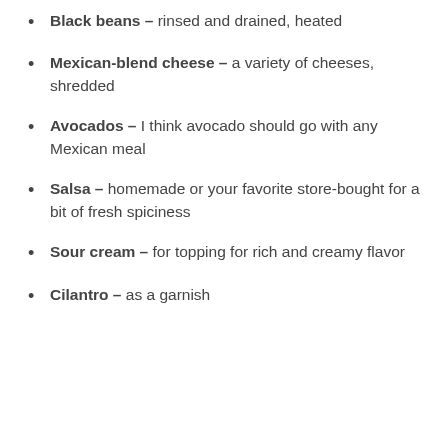Black beans – rinsed and drained, heated
Mexican-blend cheese – a variety of cheeses, shredded
Avocados – I think avocado should go with any Mexican meal
Salsa – homemade or your favorite store-bought for a bit of fresh spiciness
Sour cream – for topping for rich and creamy flavor
Cilantro – as a garnish